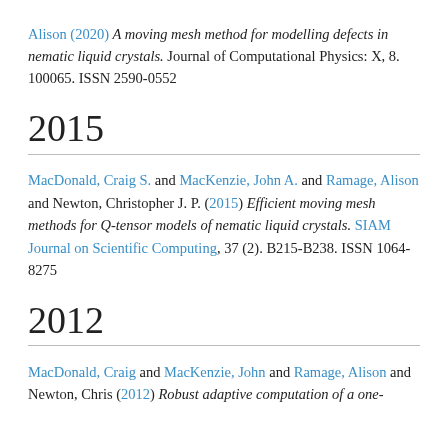Alison (2020) A moving mesh method for modelling defects in nematic liquid crystals. Journal of Computational Physics: X, 8. 100065. ISSN 2590-0552
2015
MacDonald, Craig S. and MacKenzie, John A. and Ramage, Alison and Newton, Christopher J. P. (2015) Efficient moving mesh methods for Q-tensor models of nematic liquid crystals. SIAM Journal on Scientific Computing, 37 (2). B215-B238. ISSN 1064-8275
2012
MacDonald, Craig and MacKenzie, John and Ramage, Alison and Newton, Chris (2012) Robust adaptive computation of a one-